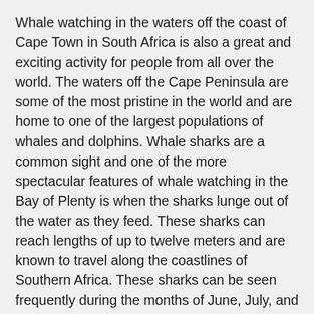Whale watching in the waters off the coast of Cape Town in South Africa is also a great and exciting activity for people from all over the world. The waters off the Cape Peninsula are some of the most pristine in the world and are home to one of the largest populations of whales and dolphins. Whale sharks are a common sight and one of the more spectacular features of whale watching in the Bay of Plenty is when the sharks lunge out of the water as they feed. These sharks can reach lengths of up to twelve meters and are known to travel along the coastlines of Southern Africa. These sharks can be seen frequently during the months of June, July, and August.
In addition to whale sharks, Southern African waters also provide opportunities for seeing grey whales. Grey whales spend the winter months traveling around the southern coastline of the Cape Peninsula. The whales return north in the summertime to find their sea routes have changed